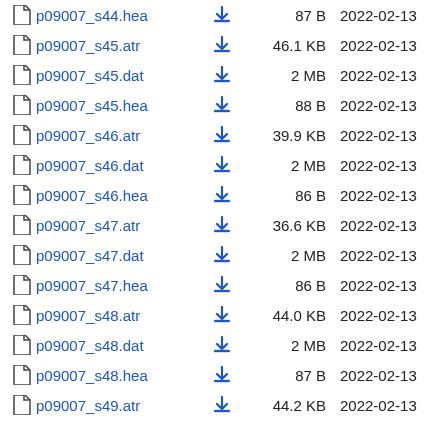p09007_s44.hea  87 B  2022-02-13
p09007_s45.atr  46.1 KB  2022-02-13
p09007_s45.dat  2 MB  2022-02-13
p09007_s45.hea  88 B  2022-02-13
p09007_s46.atr  39.9 KB  2022-02-13
p09007_s46.dat  2 MB  2022-02-13
p09007_s46.hea  86 B  2022-02-13
p09007_s47.atr  36.6 KB  2022-02-13
p09007_s47.dat  2 MB  2022-02-13
p09007_s47.hea  86 B  2022-02-13
p09007_s48.atr  44.0 KB  2022-02-13
p09007_s48.dat  2 MB  2022-02-13
p09007_s48.hea  87 B  2022-02-13
p09007_s49.atr  44.2 KB  2022-02-13